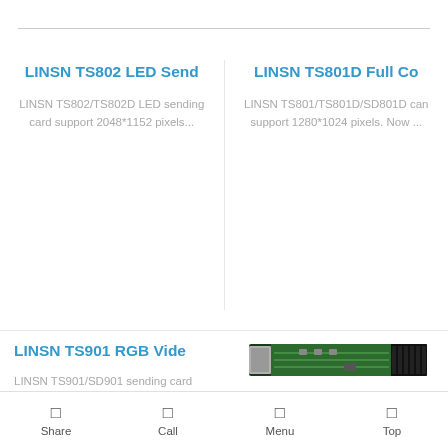LINSN TS802 LED Send
LINSN TS802/TS802D LED sending card support 2048*1152 pixels...
LINSN TS801D Full Co
LINSN TS801/TS801D/SD801D can support 1280*1024 pixels. Now ...
LINSN TS901 RGB Vide
LINSN TS901/SD901 sending card
[Figure (photo): PCB circuit board for LINSN TS901 sending card, small green board with connectors]
Share   Call   Menu   Top